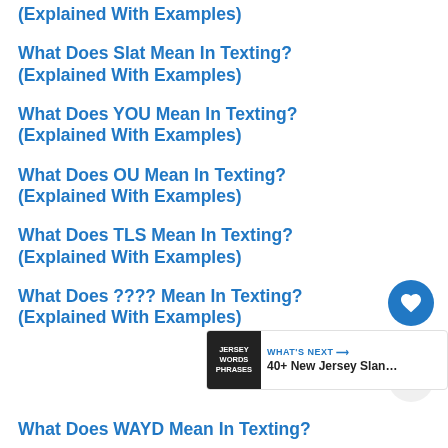(Explained With Examples)
What Does Slat Mean In Texting? (Explained With Examples)
What Does YOU Mean In Texting? (Explained With Examples)
What Does OU Mean In Texting? (Explained With Examples)
What Does TLS Mean In Texting? (Explained With Examples)
What Does ???? Mean In Texting? (Explained With Examples)
What Does WAYD Mean In Texting?